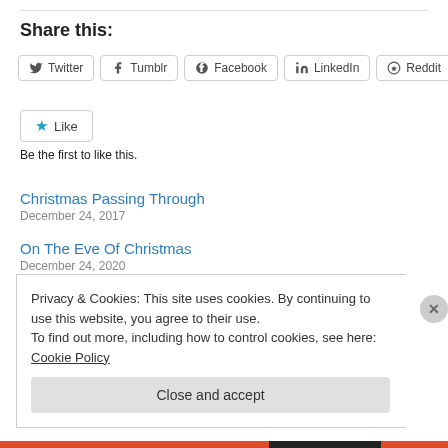Share this:
Twitter  Tumblr  Facebook  LinkedIn  Reddit
Like  Be the first to like this.
Christmas Passing Through
December 24, 2017
On The Eve Of Christmas
December 24, 2020
Privacy & Cookies: This site uses cookies. By continuing to use this website, you agree to their use.
To find out more, including how to control cookies, see here: Cookie Policy
Close and accept